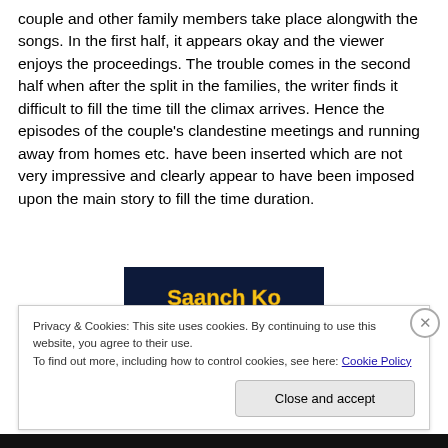couple and other family members take place alongwith the songs. In the first half, it appears okay and the viewer enjoys the proceedings. The trouble comes in the second half when after the split in the families, the writer finds it difficult to fill the time till the climax arrives. Hence the episodes of the couple's clandestine meetings and running away from homes etc. have been inserted which are not very impressive and clearly appear to have been imposed upon the main story to fill the time duration.
[Figure (screenshot): Dark blue banner image with yellow/gold stylized text reading 'Saanch Ko' (partial view)]
Privacy & Cookies: This site uses cookies. By continuing to use this website, you agree to their use.
To find out more, including how to control cookies, see here: Cookie Policy
Close and accept